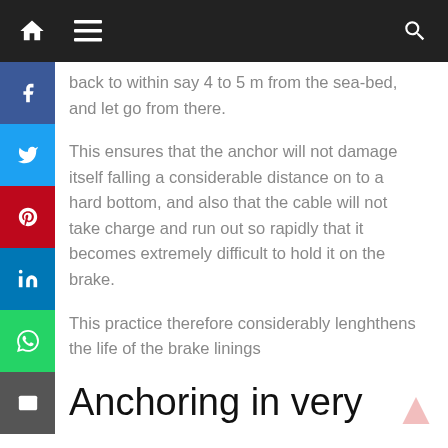[Figure (screenshot): Website navigation bar with dark background showing home icon, hamburger menu icon, and search icon]
[Figure (infographic): Social media sharing sidebar with Facebook (blue), Twitter (light blue), Pinterest (red), LinkedIn (dark blue), WhatsApp (green), and Email (grey) icons]
back to within say 4 to 5 m from the sea-bed, and let go from there.
This ensures that the anchor will not damage itself falling a considerable distance on to a hard bottom, and also that the cable will not take charge and run out so rapidly that it becomes extremely difficult to hold it on the brake.
This practice therefore considerably lenghthens the life of the brake linings
Anchoring in very